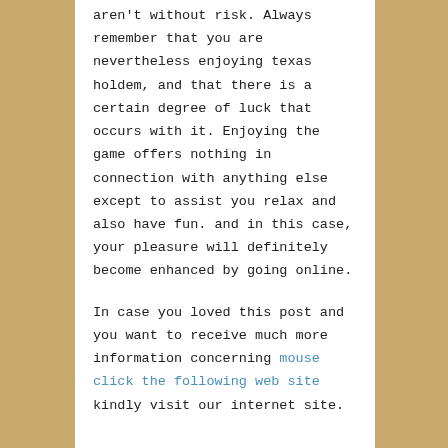aren't without risk. Always remember that you are nevertheless enjoying texas holdem, and that there is a certain degree of luck that occurs with it. Enjoying the game offers nothing in connection with anything else except to assist you relax and also have fun. and in this case, your pleasure will definitely become enhanced by going online.
In case you loved this post and you want to receive much more information concerning mouse click the following web site kindly visit our internet site.